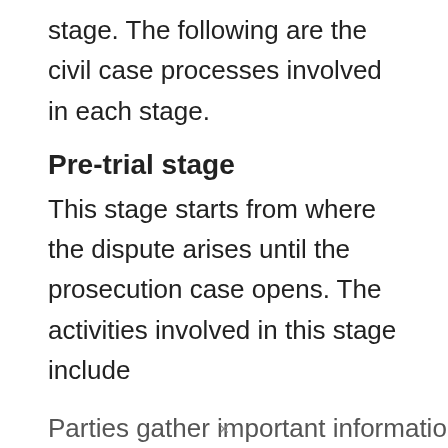stage. The following are the civil case processes involved in each stage.
Pre-trial stage
This stage starts from where the dispute arises until the prosecution case opens. The activities involved in this stage include
Parties gather important information of